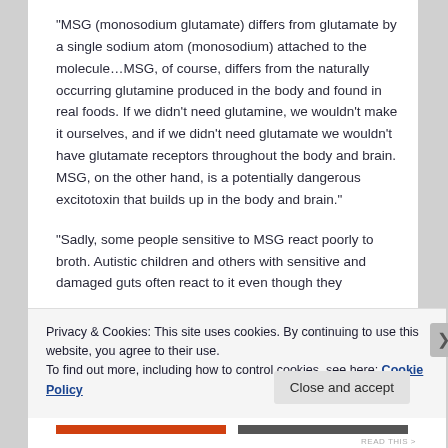“MSG (monosodium glutamate) differs from glutamate by a single sodium atom (monosodium) attached to the molecule…MSG, of course, differs from the naturally occurring glutamine produced in the body and found in real foods. If we didn’t need glutamine, we wouldn’t make it ourselves, and if we didn’t need glutamate we wouldn’t have glutamate receptors throughout the body and brain. MSG, on the other hand, is a potentially dangerous excitotoxin that builds up in the body and brain.”
“Sadly, some people sensitive to MSG react poorly to broth. Autistic children and others with sensitive and damaged guts often react to it even though they
Privacy & Cookies: This site uses cookies. By continuing to use this website, you agree to their use.
To find out more, including how to control cookies, see here: Cookie Policy